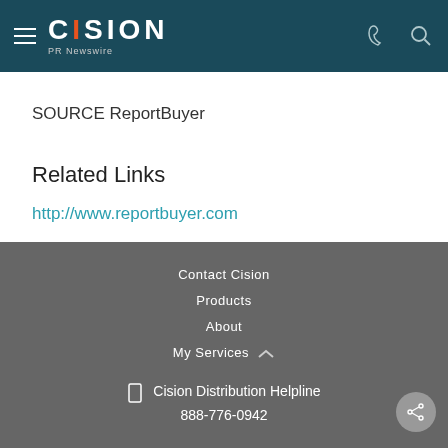CISION PR Newswire
SOURCE ReportBuyer
Related Links
http://www.reportbuyer.com
Contact Cision
Products
About
My Services
Cision Distribution Helpline
888-776-0942